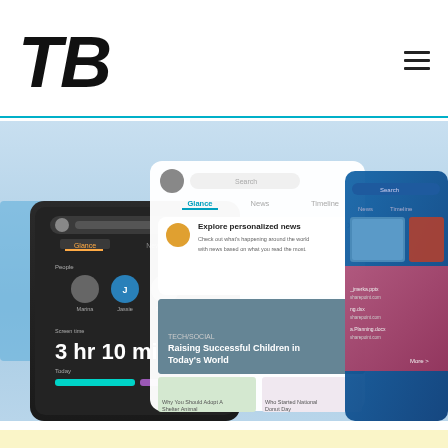TB
[Figure (screenshot): Screenshot of Microsoft app showing multiple device screens with news feed, personalized news, Glance/News/Timeline tabs, people section, screen time display showing 3 hr 10 min, and article previews including 'Raising Successful Children in Today's World', 'Why You Should Adopt A Shelter Animal', 'Who Started National Donut Day']
Image Credit: Microsoft